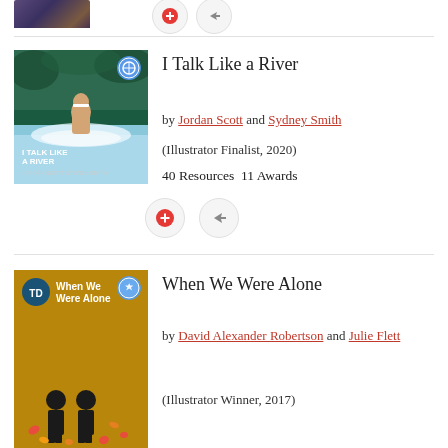[Figure (other): Cropped book cover thumbnail at top with action buttons (plus and share)]
[Figure (illustration): Book cover for 'I Talk Like a River' showing a child in water with teal/blue tones]
I Talk Like a River
by Jordan Scott and Sydney Smith
(Illustrator Finalist, 2020)
40 Resources  11 Awards
[Figure (other): Action buttons: plus (add) and share arrow]
[Figure (illustration): Book cover for 'When We Were Alone' showing two children on golden/ochre background]
When We Were Alone
by David Alexander Robertson and Julie Flett
(Illustrator Winner, 2017)